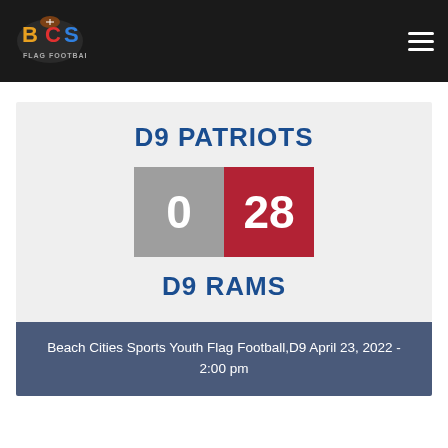[Figure (logo): BCS Flag Football logo with football and colorful letters]
D9 PATRIOTS
0   28
D9 RAMS
Beach Cities Sports Youth Flag Football,D9 April 23, 2022 - 2:00 pm